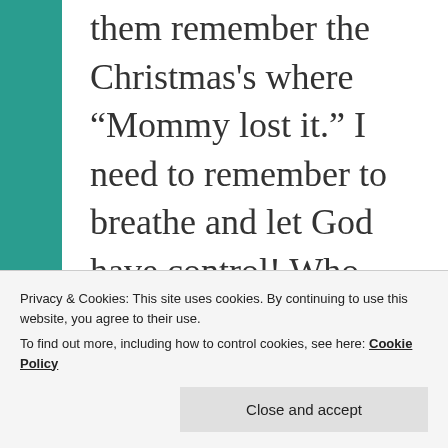them remember the Christmas's where “Mommy lost it.” I need to remember to breathe and let God have control! Who will be in control of your Christmas season? Will you learn to be flexible or will you continue
Privacy & Cookies: This site uses cookies. By continuing to use this website, you agree to their use.
To find out more, including how to control cookies, see here: Cookie Policy
Close and accept